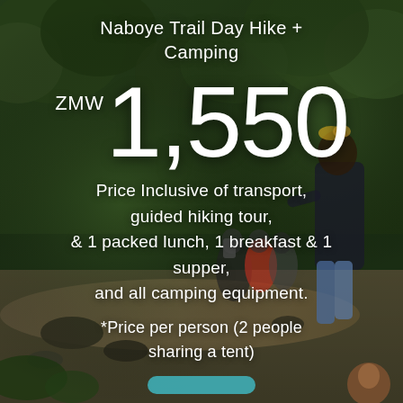[Figure (photo): Outdoor forest hiking scene with people crossing a muddy river/stream, lush green trees in background, person in foreground wearing black jacket and jeans]
Naboye Trail Day Hike + Camping
ZMW 1,550
Price Inclusive of transport, guided hiking tour, & 1 packed lunch, 1 breakfast & 1 supper, and all camping equipment.
*Price per person (2 people sharing a tent)